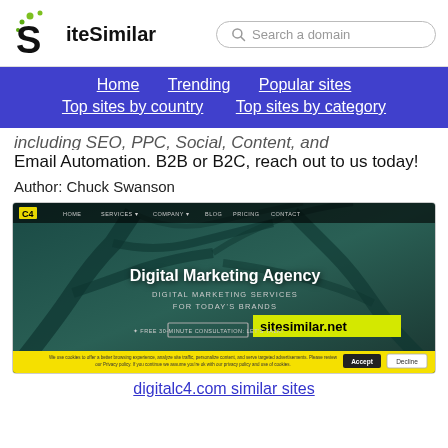SiteSimilar — Search a domain
...including SEO, PPC, Social, Content, and Email Automation. B2B or B2C, reach out to us today!
Author: Chuck Swanson
[Figure (screenshot): Screenshot of digitalc4.com showing a Digital Marketing Agency website with a dark teal tree-branch background, C4 logo, nav bar, heading 'Digital Marketing Agency', subheading 'DIGITAL MARKETING SERVICES FOR TODAY'S BRANDS', a sitesimilar.net watermark, and a yellow cookie consent banner.]
digitalc4.com similar sites